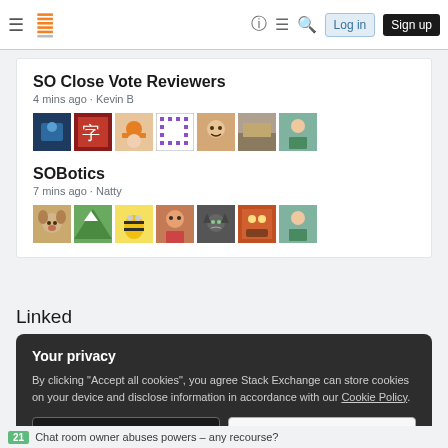Stack Overflow navigation bar with hamburger menu, logo, help, chat, search, Log in, Sign up
SO Close Vote Reviewers
4 mins ago · Kevin B
[Figure (photo): Row of 7 user avatars for SO Close Vote Reviewers chat room]
SOBotics
7 mins ago · Natty
[Figure (photo): Row of 7 user avatars for SOBotics chat room]
Linked
Your privacy

By clicking "Accept all cookies", you agree Stack Exchange can store cookies on your device and disclose information in accordance with our Cookie Policy.
Chat room owner abuses powers – any recourse?